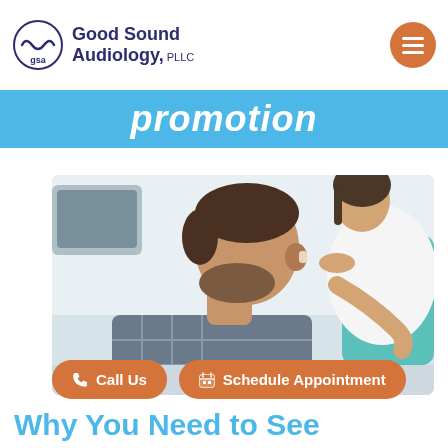Good Sound Audiology, PLLC
promotion
[Figure (photo): An audiologist fitting a hearing aid on a male patient's ear in a clinical setting. The patient is a bearded man facing left, and a female clinician in a white coat is placing a hearing aid on his ear. A teal chair is visible in the background.]
Call Us
Schedule Appointment
Why You Need to See